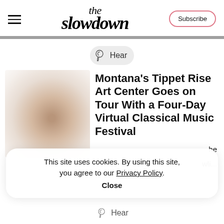the slowdown — Subscribe
Hear
Montana's Tippet Rise Art Center Goes on Tour With a Four-Day Virtual Classical Music Festival
[Figure (illustration): Blurred warm beige/brown gradient thumbnail image for the article]
This site uses cookies. By using this site, you agree to our Privacy Policy. Close
Hear